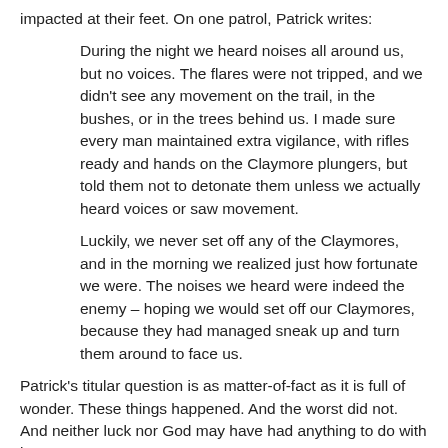impacted at their feet. On one patrol, Patrick writes:
During the night we heard noises all around us, but no voices. The flares were not tripped, and we didn't see any movement on the trail, in the bushes, or in the trees behind us. I made sure every man maintained extra vigilance, with rifles ready and hands on the Claymore plungers, but told them not to detonate them unless we actually heard voices or saw movement.
Luckily, we never set off any of the Claymores, and in the morning we realized just how fortunate we were. The noises we heard were indeed the enemy – hoping we would set off our Claymores, because they had managed sneak up and turn them around to face us.
Patrick's titular question is as matter-of-fact as it is full of wonder. These things happened. And the worst did not. And neither luck nor God may have had anything to do with it.